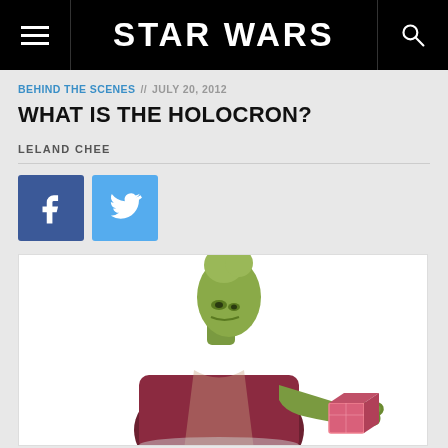STAR WARS
BEHIND THE SCENES // JULY 20, 2012
WHAT IS THE HOLOCRON?
LELAND CHEE
[Figure (illustration): Illustration of a green alien figure in dark robes holding a small glowing red holocron cube in its outstretched hand, looking down at it.]